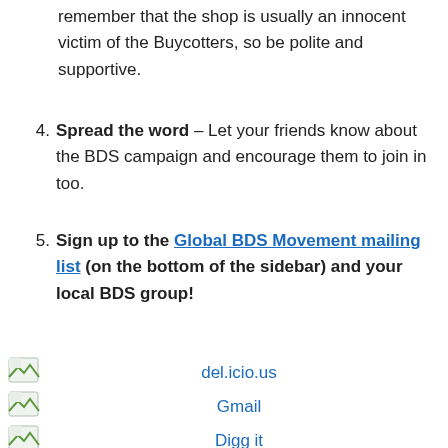remember that the shop is usually an innocent victim of the Buycotters, so be polite and supportive.
Spread the word – Let your friends know about the BDS campaign and encourage them to join in too.
Sign up to the Global BDS Movement mailing list (on the bottom of the sidebar) and your local BDS group!
del.icio.us
Gmail
Digg it
CiteULike
Blinklist
Facebook
Furl